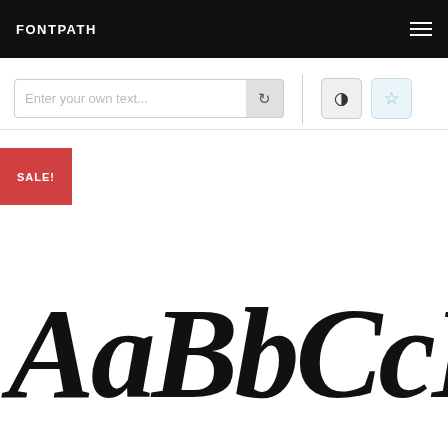FONTPATH
Enter your own text...
SALE!
[Figure (illustration): Decorative blackletter/calligraphic font preview displaying 'AaBbCcDd' characters in large ornate script style]